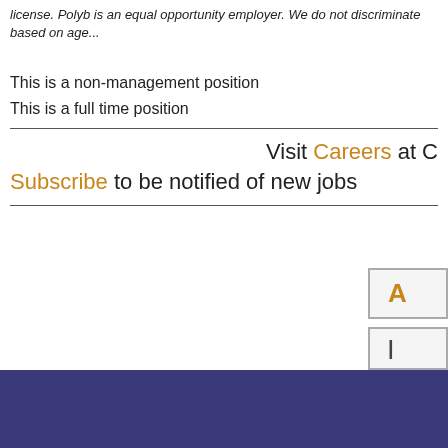license. Polyb is an equal opportunity employer. We do not discriminate based on age...
This is a non-management position
This is a full time position
Visit Careers at C
Subscribe to be notified of new jobs
[Figure (screenshot): Partially visible Apply button and a second button on the right side of the page]